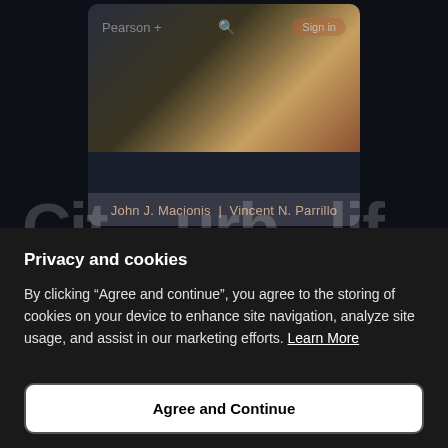[Figure (screenshot): Screenshot of Pearson+ website showing a book by John J. Macionis and Vincent N. Parrillo, with navigation bar showing Pearson+ logo, search icon, and Sign In button]
Privacy and cookies
By clicking “Agree and continue”, you agree to the storing of cookies on your device to enhance site navigation, analyze site usage, and assist in our marketing efforts. Learn More